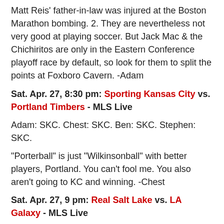Matt Reis' father-in-law was injured at the Boston Marathon bombing. 2. They are nevertheless not very good at playing soccer. But Jack Mac & the Chichiritos are only in the Eastern Conference playoff race by default, so look for them to split the points at Foxboro Cavern. -Adam
Sat. Apr. 27, 8:30 pm: Sporting Kansas City vs. Portland Timbers - MLS Live
Adam: SKC. Chest: SKC. Ben: SKC. Stephen: SKC.
"Porterball" is just "Wilkinsonball" with better players, Portland. You can't fool me. You also aren't going to KC and winning. -Chest
Sat. Apr. 27, 9 pm: Real Salt Lake vs. LA Galaxy - MLS Live